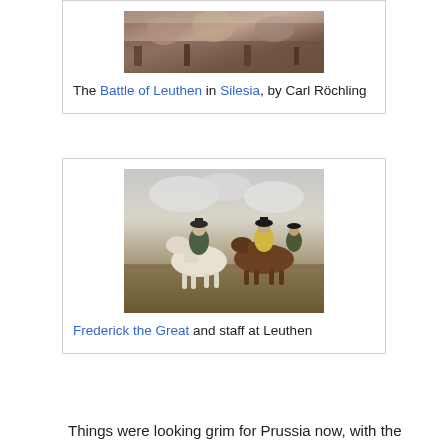[Figure (photo): Painting of the Battle of Leuthen in Silesia, by Carl Röchling — soldiers in battle scene]
The Battle of Leuthen in Silesia, by Carl Röchling
[Figure (photo): Frederick the Great and staff on horseback at Leuthen — military officers on horses in an open field]
Frederick the Great and staff at Leuthen
Things were looking grim for Prussia now, with the